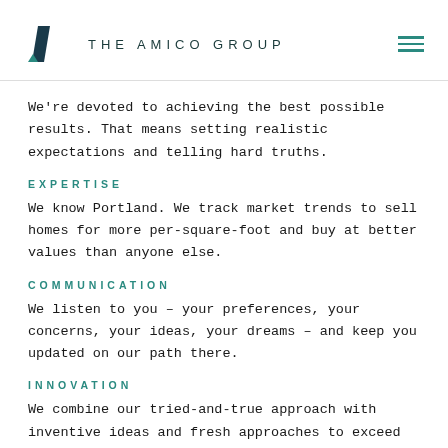THE AMICO GROUP
We're devoted to achieving the best possible results. That means setting realistic expectations and telling hard truths.
EXPERTISE
We know Portland. We track market trends to sell homes for more per-square-foot and buy at better values than anyone else.
COMMUNICATION
We listen to you – your preferences, your concerns, your ideas, your dreams – and keep you updated on our path there.
INNOVATION
We combine our tried-and-true approach with inventive ideas and fresh approaches to exceed your expectations.